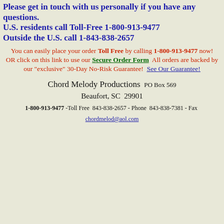Please get in touch with us personally if you have any questions. U.S. residents call Toll-Free 1-800-913-9477 Outside the U.S. call 1-843-838-2657
You can easily place your order Toll Free by calling 1-800-913-9477 now! OR click on this link to use our Secure Order Form  All orders are backed by our "exclusive" 30-Day No-Risk Guarantee!  See Our Guarantee!
Chord Melody Productions  PO Box 569
Beaufort, SC  29901
1-800-913-9477 -Toll Free  843-838-2657 - Phone  843-838-7381 - Fax  chordmelod@aol.com